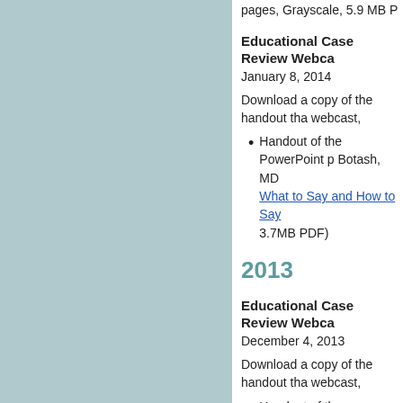pages, Grayscale, 5.9 MB P
Educational Case Review Webca
January 8, 2014
Download a copy of the handout tha webcast,
Handout of the PowerPoint p Botash, MD What to Say and How to Say 3.7MB PDF)
2013
Educational Case Review Webca
December 4, 2013
Download a copy of the handout tha webcast,
Handout of the PowerPoint p MD, and Jamie Hoffman-Ros Understanding Femur Fractu (Black and white, 7 pages, 1
Educational Webcast